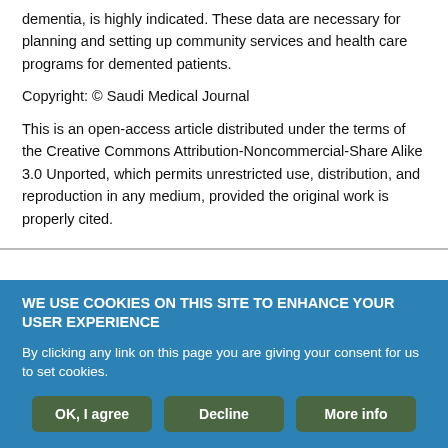dementia, is highly indicated. These data are necessary for planning and setting up community services and health care programs for demented patients.
Copyright: © Saudi Medical Journal
This is an open-access article distributed under the terms of the Creative Commons Attribution-Noncommercial-Share Alike 3.0 Unported, which permits unrestricted use, distribution, and reproduction in any medium, provided the original work is properly cited.
WE USE COOKIES ON THIS SITE TO ENHANCE YOUR USER EXPERIENCE
By clicking any link on this page you are giving your consent for us to set cookies.